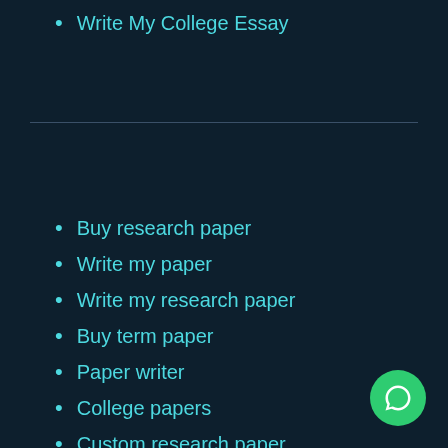Write My College Essay
Buy research paper
Write my paper
Write my research paper
Buy term paper
Paper writer
College papers
Custom research paper
Pay essays